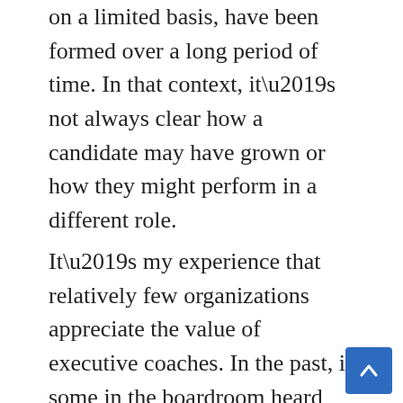on a limited basis, have been formed over a long period of time. In that context, it’s not always clear how a candidate may have grown or how they might perform in a different role.
It’s my experience that relatively few organizations appreciate the value of executive coaches. In the past, if some in the boardroom heard that the CEO asked for or needed a coach, it was likely viewed as evidence of some